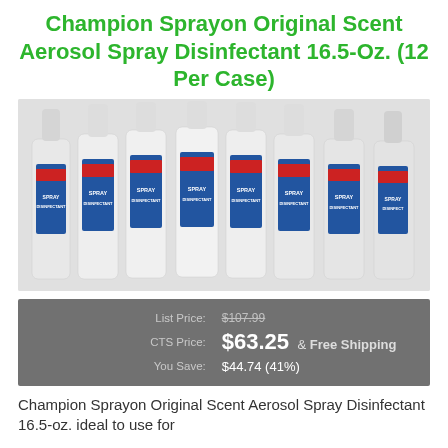Champion Sprayon Original Scent Aerosol Spray Disinfectant 16.5-Oz. (12 Per Case)
[Figure (photo): 12 cans of Champion Sprayon Original Scent Aerosol Spray Disinfectant arranged together, white aerosol cans with blue and red labels reading SPRAY DISINFECTANT]
| Label | Value |
| --- | --- |
| List Price: | $107.99 |
| CTS Price: | $63.25 & Free Shipping |
| You Save: | $44.74 (41%) |
Champion Sprayon Original Scent Aerosol Spray Disinfectant 16.5-oz. ideal to use for